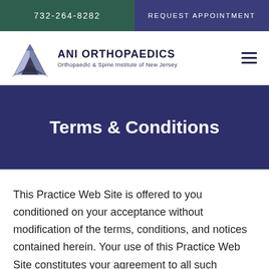732-264-8282  |  REQUEST APPOINTMENT
[Figure (logo): ANI Orthopaedics logo with geometric triangular shape in blue/grey and black]
Terms & Conditions
This Practice Web Site is offered to you conditioned on your acceptance without modification of the terms, conditions, and notices contained herein. Your use of this Practice Web Site constitutes your agreement to all such